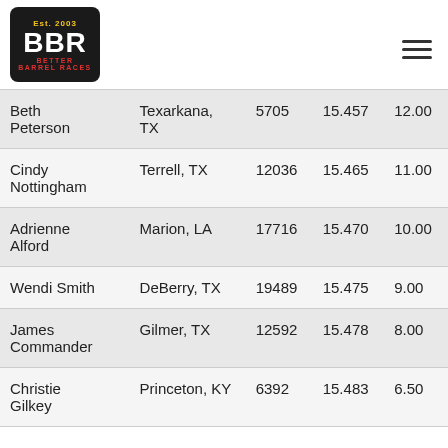[Figure (logo): Better Barrel Races (BBR) logo established 2003, dark background with red and white text]
| Name | Location | ID | Time | Points |
| --- | --- | --- | --- | --- |
| Beth Peterson | Texarkana, TX | 5705 | 15.457 | 12.00 |
| Cindy Nottingham | Terrell, TX | 12036 | 15.465 | 11.00 |
| Adrienne Alford | Marion, LA | 17716 | 15.470 | 10.00 |
| Wendi Smith | DeBerry, TX | 19489 | 15.475 | 9.00 |
| James Commander | Gilmer, TX | 12592 | 15.478 | 8.00 |
| Christie Gilkey | Princeton, KY | 6392 | 15.483 | 6.50 |